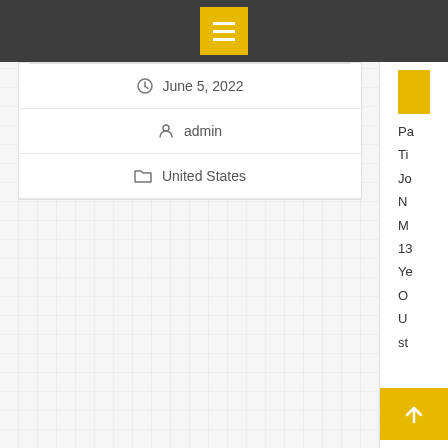Navigation menu bar
June 5, 2022
admin
United States